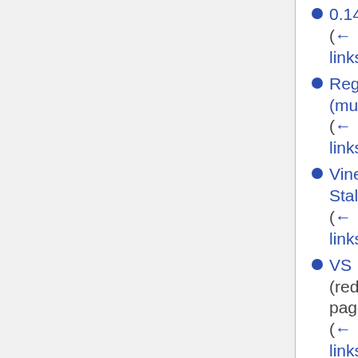0.14 (← links)
Regeneration (mutation) (← links)
Vine Stalker (← links)
VS (redirect page) (← links)
Vine stalker (redirect page)